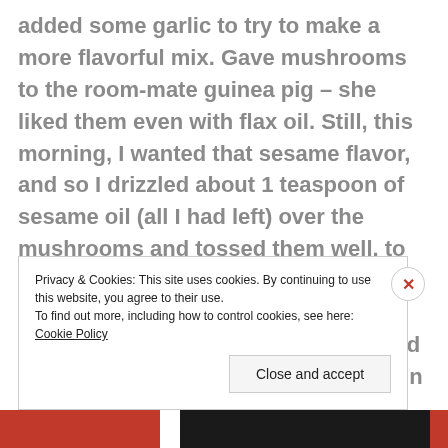added some garlic to try to make a more flavorful mix. Gave mushrooms to the room-mate guinea pig – she liked them even with flax oil. Still, this morning, I wanted that sesame flavor, and so I drizzled about 1 teaspoon of sesame oil (all I had left) over the mushrooms and tossed them well, to distribute the oil. Then, I decided that, since the carrots in my refrigerator were not getting any younger, I should shave some off a carrot and put that in the mushroom mix as well. Did that with the vegetable peeler – really thin, sheer, see-through carrot shavings, and I
Privacy & Cookies: This site uses cookies. By continuing to use this website, you agree to their use.
To find out more, including how to control cookies, see here: Cookie Policy
Close and accept